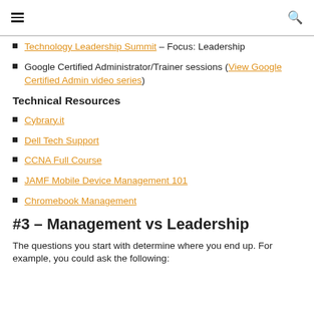[hamburger menu] [search icon]
Technology Leadership Summit – Focus: Leadership
Google Certified Administrator/Trainer sessions (View Google Certified Admin video series)
Technical Resources
Cybrary.it
Dell Tech Support
CCNA Full Course
JAMF Mobile Device Management 101
Chromebook Management
#3 – Management vs Leadership
The questions you start with determine where you end up. For example, you could ask the following: